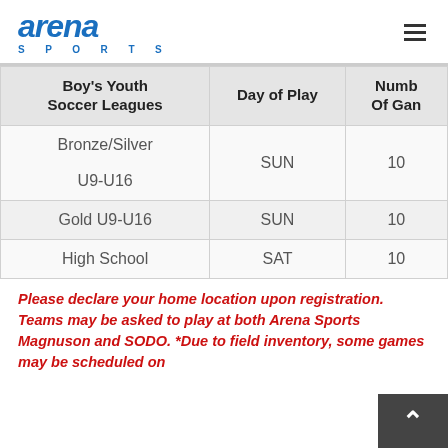arena SPORTS
| Boy's Youth Soccer Leagues | Day of Play | Number Of Games |
| --- | --- | --- |
| Bronze/Silver U9-U16 | SUN | 10 |
| Gold U9-U16 | SUN | 10 |
| High School | SAT | 10 |
Please declare your home location upon registration. Teams may be asked to play at both Arena Sports Magnuson and SODO. *Due to field inventory, some games may be scheduled on…